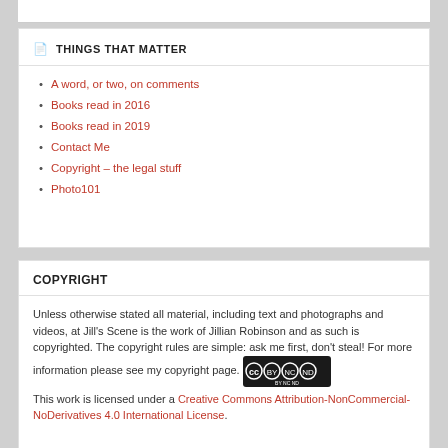THINGS THAT MATTER
A word, or two, on comments
Books read in 2016
Books read in 2019
Contact Me
Copyright – the legal stuff
Photo101
COPYRIGHT
Unless otherwise stated all material, including text and photographs and videos, at Jill's Scene is the work of Jillian Robinson and as such is copyrighted. The copyright rules are simple: ask me first, don't steal! For more information please see my copyright page.
[Figure (logo): Creative Commons BY-NC-ND license badge]
This work is licensed under a Creative Commons Attribution-NonCommercial-NoDerivatives 4.0 International License.